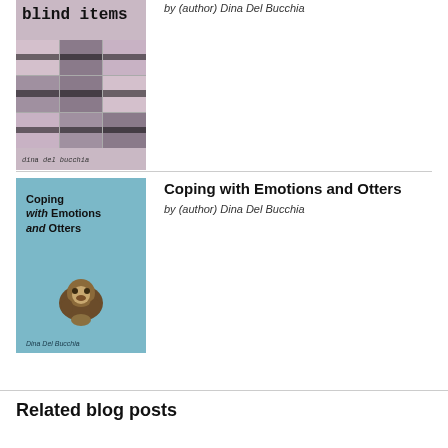[Figure (photo): Book cover for 'blind items' by Dina Del Bucchia — handwritten title over a collage of muted purple-toned photo grid with black bars obscuring faces]
by (author) Dina Del Bucchia
[Figure (photo): Book cover for 'Coping with Emotions and Otters' by Dina Del Bucchia — teal/light blue cover with stylized text and an illustration of an otter]
Coping with Emotions and Otters
by (author) Dina Del Bucchia
Related blog posts